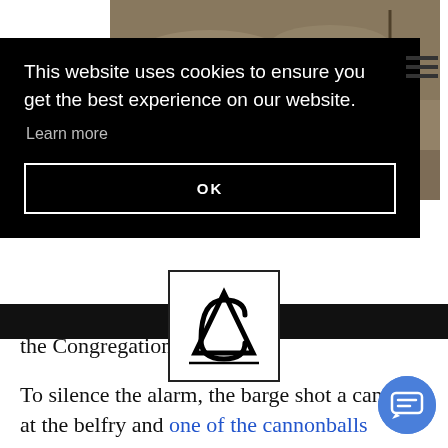[Figure (photo): Historical engraving/illustration visible at top right of page, partially obscured by cookie banner. Dark sepia-toned image showing what appears to be a ship or maritime scene.]
This website uses cookies to ensure you get the best experience on our website.
Learn more
OK
[Figure (logo): AC logo in a square border — stylized letters A and C overlapping, black on white]
BOOK NOW
the Congregational church).
To silence the alarm, the barge shot a cann at the belfry and one of the cannonballs remained stuck. The recoil from the cannon